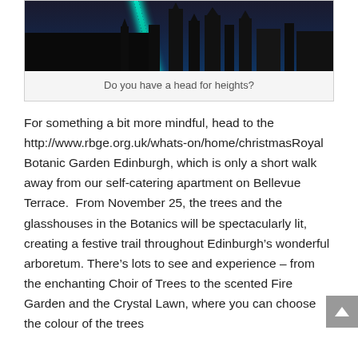[Figure (photo): A dark nighttime photo showing a tall illuminated teal/cyan laser or light beam rising diagonally past dark Gothic stone spires or architecture.]
Do you have a head for heights?
For something a bit more mindful, head to the http://www.rbge.org.uk/whats-on/home/christmasRoyal Botanic Garden Edinburgh, which is only a short walk away from our self-catering apartment on Bellevue Terrace.  From November 25, the trees and the glasshouses in the Botanics will be spectacularly lit, creating a festive trail throughout Edinburgh’s wonderful arboretum. There’s lots to see and experience – from the enchanting Choir of Trees to the scented Fire Garden and the Crystal Lawn, where you can choose the colour of the trees